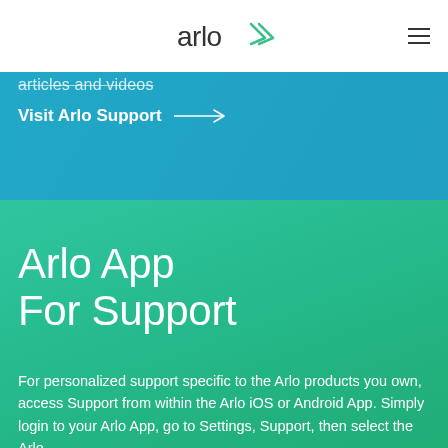arlo
articles and videos
Visit Arlo Support →
Arlo App
For Support
For personalized support specific to the Arlo products you own, access Support from within the Arlo iOS or Android App. Simply login to your Arlo App, go to Settings, Support, then select the Arlo